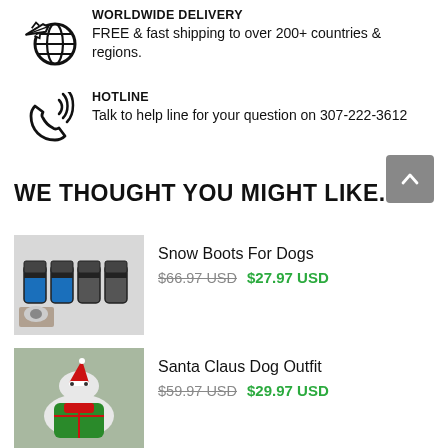[Figure (illustration): Globe with airplane icon representing worldwide delivery]
WORLDWIDE DELIVERY
FREE & fast shipping to over 200+ countries & regions.
[Figure (illustration): Phone/handset with signal waves icon representing hotline]
HOTLINE
Talk to help line for your question on 307-222-3612
WE THOUGHT YOU MIGHT LIKE...
[Figure (photo): Product photo of dog snow boots - blue and black striped socks with a husky dog wearing them]
Snow Boots For Dogs
$66.97 USD  $27.97 USD
[Figure (photo): Product photo of Santa Claus dog outfit - white small dog wearing red and green Christmas costume]
Santa Claus Dog Outfit
$59.97 USD  $29.97 USD